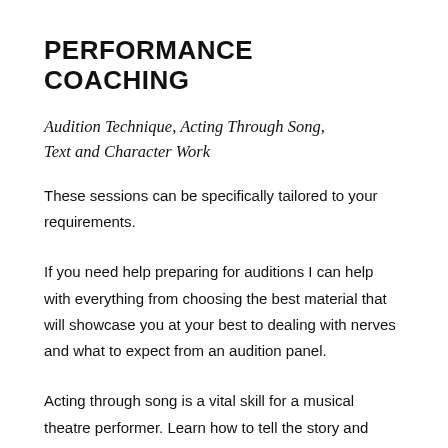PERFORMANCE COACHING
Audition Technique, Acting Through Song, Text and Character Work
These sessions can be specifically tailored to your requirements.
If you need help preparing for auditions I can help with everything from choosing the best material that will showcase you at your best to dealing with nerves and what to expect from an audition panel.
Acting through song is a vital skill for a musical theatre performer. Learn how to tell the story and engage with the lyrics as an actor as well as